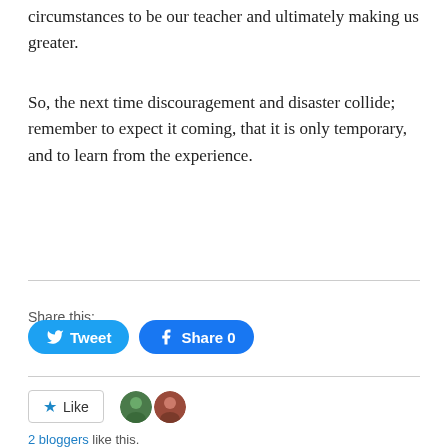circumstances to be our teacher and ultimately making us greater.
So, the next time discouragement and disaster collide; remember to expect it coming, that it is only temporary, and to learn from the experience.
Share this:
[Figure (screenshot): Two social sharing buttons: a blue Twitter 'Tweet' button and a blue Facebook 'Share 0' button]
[Figure (screenshot): A 'Like' button with a star icon, followed by two small circular avatar photos of bloggers]
2 bloggers like this.